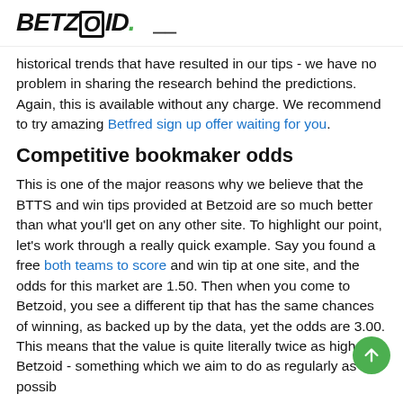BETZOID.
historical trends that have resulted in our tips - we have no problem in sharing the research behind the predictions. Again, this is available without any charge. We recommend to try amazing Betfred sign up offer waiting for you.
Competitive bookmaker odds
This is one of the major reasons why we believe that the BTTS and win tips provided at Betzoid are so much better than what you'll get on any other site. To highlight our point, let's work through a really quick example. Say you found a free both teams to score and win tip at one site, and the odds for this market are 1.50. Then when you come to Betzoid, you see a different tip that has the same chances of winning, as backed up by the data, yet the odds are 3.00. This means that the value is quite literally twice as high at Betzoid - something which we aim to do as regularly as possib
Professional tipsters